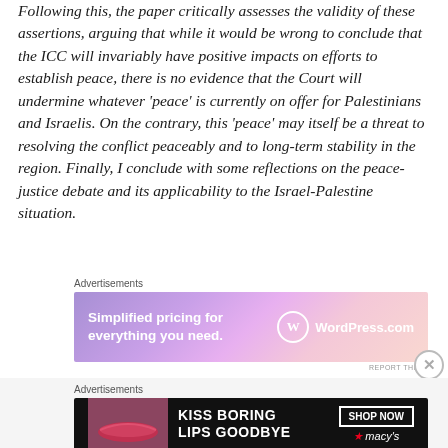Following this, the paper critically assesses the validity of these assertions, arguing that while it would be wrong to conclude that the ICC will invariably have positive impacts on efforts to establish peace, there is no evidence that the Court will undermine whatever ‘peace’ is currently on offer for Palestinians and Israelis. On the contrary, this ‘peace’ may itself be a threat to resolving the conflict peaceably and to long-term stability in the region. Finally, I conclude with some reflections on the peace-justice debate and its applicability to the Israel-Palestine situation.
[Figure (screenshot): WordPress.com advertisement banner: 'Simplified pricing for everything you need.' with WordPress logo on gradient purple-pink background]
[Figure (screenshot): Macy's advertisement banner: 'KISS BORING LIPS GOODBYE' with SHOP NOW button on black background with lips photo]